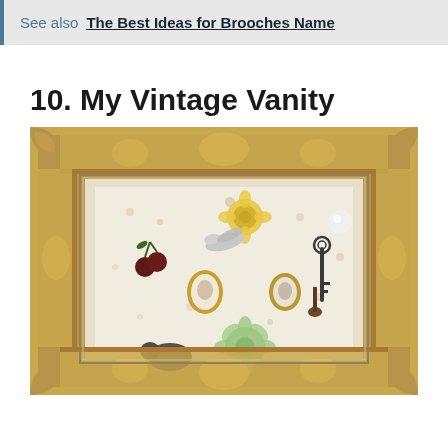See also The Best Ideas for Brooches Name
10. My Vintage Vanity
[Figure (photo): A decorative ornate gold vintage picture frame displaying a collection of brooches and jewelry items arranged on a floral patterned background inside the frame. Items include a bird brooch, cherry brooch, floral brooches, cameo pins, a skeleton key, and other vintage jewelry pieces.]